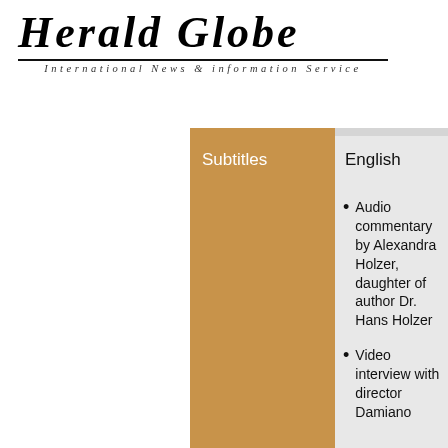Herald Globe
International News & Information Service
| Subtitles | English |
| --- | --- |
|  | • Audio commentary by Alexandra Holzer, daughter of author Dr. Hans Holzer
• Video interview with director Damiano |